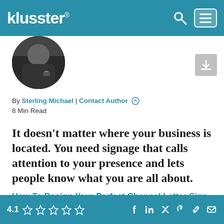klusster®
[Figure (photo): Author profile photo (circular crop) showing a person in dark clothing with a watch]
By Sterling Michael | Contact Author 8 Min Read
It doesn't matter where your business is located. You need signage that calls attention to your presence and lets people know what you are all about.
How To Design Your Perfect Channel Letter Sign
4.1 ☆☆☆☆☆ [social icons: Facebook, LinkedIn, Twitter, Pinterest, Link, Email]